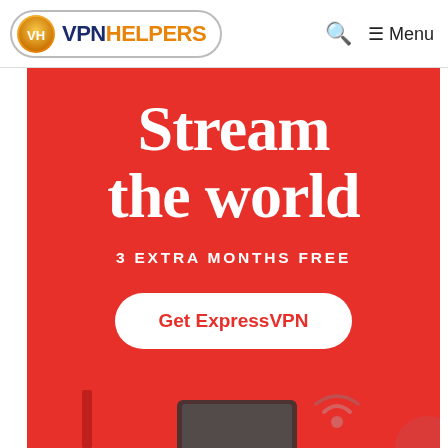VPN HELPERS — Search — Menu
[Figure (screenshot): ExpressVPN advertisement banner on a red background. Large serif text reads 'Stream the world'. Below that, '3 EXTRA MONTHS FREE' in white uppercase letters. A white rounded button labeled 'Get ExpressVPN' in red text. Bottom shows partial illustration of devices.]
Stream the world
3 EXTRA MONTHS FREE
Get ExpressVPN